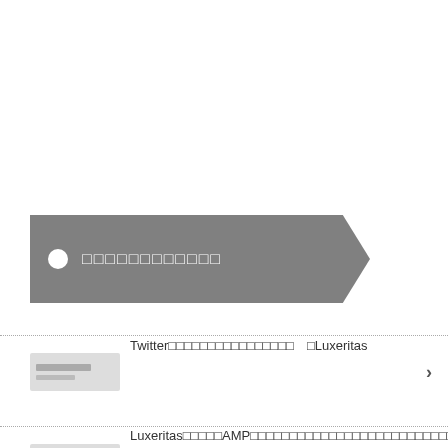[Figure (other): Gray tag/label shape with a white circle and white rectangular placeholder text]
Twitter□□□□□□□□□□□□□□□□　□Luxeritas
[Figure (other): Thumbnail image placeholder with lines]
Luxeritas□□□□□AMP□□□□□□□□□□□□□□□□□□□□□□□□□□□□